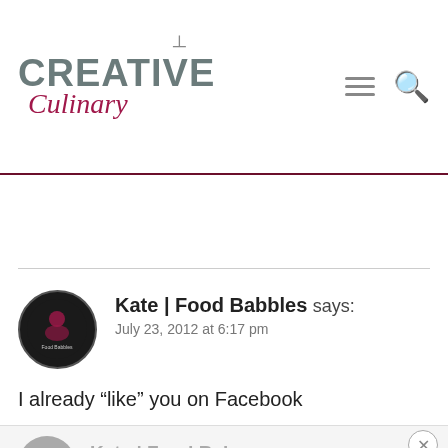[Figure (logo): Creative Culinary website logo with spoon icon, gray CREATIVE text and crimson italic Culinary text]
[Figure (other): Hamburger menu icon and search magnifier icon in gray]
Kate | Food Babbles says:
July 23, 2012 at 6:17 pm
I already “like” you on Facebook
Reply
[Figure (other): Partial view of second Kate | Food Babbles comment avatar and name at bottom of page]